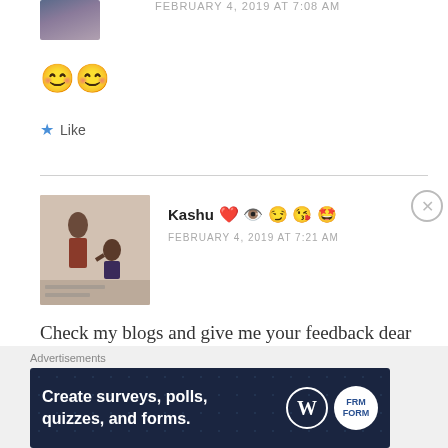FEBRUARY 4, 2019 AT 7:08 AM
[Figure (illustration): Smiling face emoji repeated twice]
Like
[Figure (photo): Comment avatar showing couple, possibly proposal scene]
Kashu ❤️ 👁️ 😏 😘 😍 FEBRUARY 4, 2019 AT 7:21 AM
Check my blogs and give me your feedback dear
Advertisements
[Figure (screenshot): Advertisement banner: Create surveys, polls, quizzes, and forms. WordPress and FRM logos.]